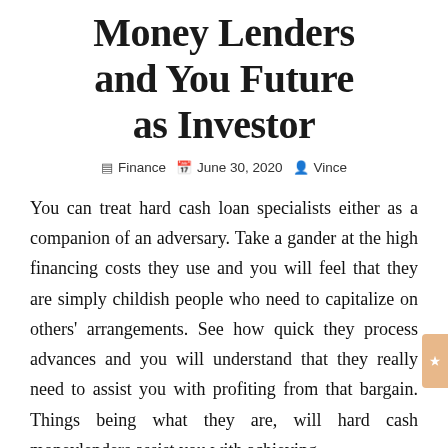Money Lenders and You Future as Investor
Finance  June 30, 2020  Vince
You can treat hard cash loan specialists either as a companion of an adversary. Take a gander at the high financing costs they use and you will feel that they are simply childish people who need to capitalize on others' arrangements. See how quick they process advances and you will understand that they really need to assist you with profiting from that bargain. Things being what they are, will hard cash moneylenders assist you with achieving